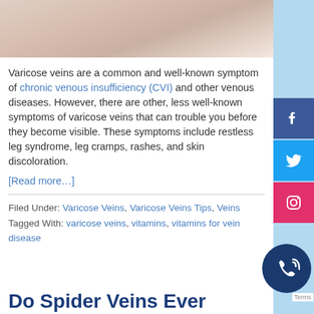[Figure (photo): Partial photo of a person, likely showing skin or body related to varicose veins content]
Varicose veins are a common and well-known symptom of chronic venous insufficiency (CVI) and other venous diseases. However, there are other, less well-known symptoms of varicose veins that can trouble you before they become visible. These symptoms include restless leg syndrome, leg cramps, rashes, and skin discoloration.
[Read more…]
Filed Under: Varicose Veins, Varicose Veins Tips, Veins
Tagged With: varicose veins, vitamins, vitamins for vein disease
Do Spider Veins Ever